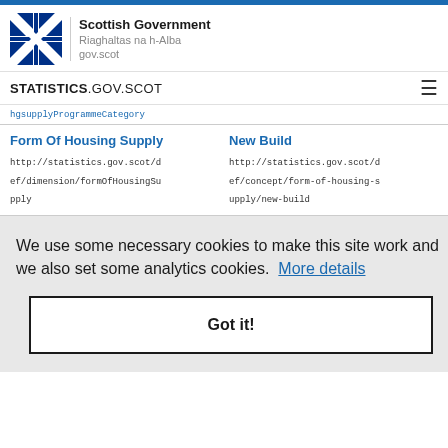[Figure (logo): Scottish Government logo with Saltire flag, text 'Scottish Government', 'Riaghaltas na h-Alba', 'gov.scot']
STATISTICS.GOV.SCOT
hgsupplyProgrammeCategory
| Form Of Housing Supply | New Build |
| --- | --- |
| http://statistics.gov.scot/def/dimension/formOfHousingSupply | http://statistics.gov.scot/def/concept/form-of-housing-supply/new-build |
We use some necessary cookies to make this site work and we also set some analytics cookies. More details
Got it!
Reference Area